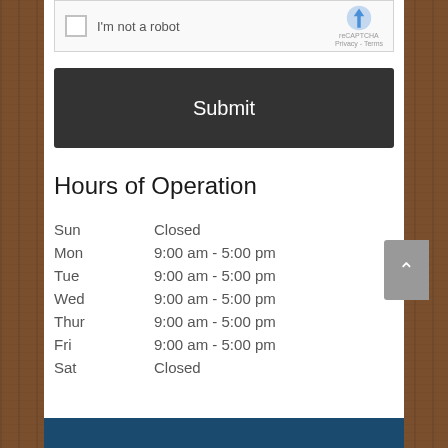[Figure (screenshot): reCAPTCHA widget showing checkbox 'I'm not a robot' with reCAPTCHA logo and Privacy/Terms links]
Submit
Hours of Operation
| Sun | Closed |
| Mon | 9:00 am - 5:00 pm |
| Tue | 9:00 am - 5:00 pm |
| Wed | 9:00 am - 5:00 pm |
| Thur | 9:00 am - 5:00 pm |
| Fri | 9:00 am - 5:00 pm |
| Sat | Closed |